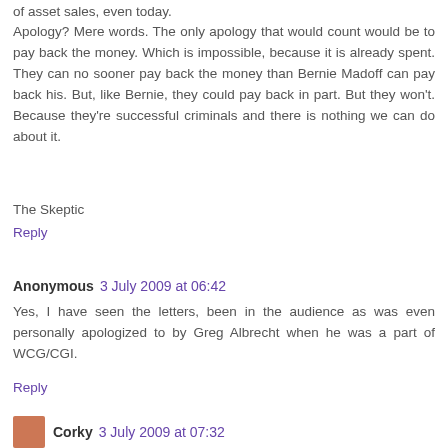of asset sales, even today.
Apology? Mere words. The only apology that would count would be to pay back the money. Which is impossible, because it is already spent. They can no sooner pay back the money than Bernie Madoff can pay back his. But, like Bernie, they could pay back in part. But they won't. Because they're successful criminals and there is nothing we can do about it.
The Skeptic
Reply
Anonymous 3 July 2009 at 06:42
Yes, I have seen the letters, been in the audience as was even personally apologized to by Greg Albrecht when he was a part of WCG/CGI.
Reply
Corky 3 July 2009 at 07:32